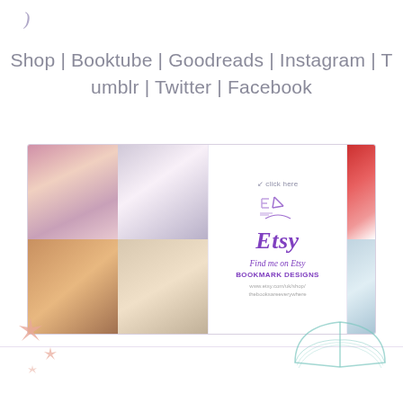[Figure (illustration): Crescent moon symbol / decorative icon in purple-gray color]
Shop | Booktube | Goodreads | Instagram | Tumblr | Twitter | Facebook
[Figure (illustration): Etsy shop banner with 4 photo collage on left showing bookmarks and books, center Etsy logo with 'Find me on Etsy - BOOKMARK DESIGNS - www.etsy.com/uk/shop/thebooksareeverywhere', and 2 photos on right showing books and bookmarks]
[Figure (illustration): Decorative sparkle/star shapes in salmon/peach color bottom left, and decorative open book illustration in teal/mint color bottom right]